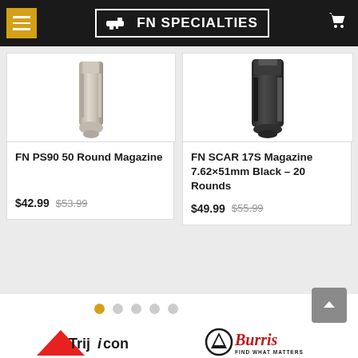FN Specialties - navigation header with hamburger menu, logo, and cart icon
[Figure (photo): FN PS90 50 Round Magazine product photo - metallic silver magazine]
FN PS90 50 Round Magazine
$42.99  $53.99
[Figure (photo): FN SCAR 17S Magazine 7.62x51mm Black – 20 Rounds product photo - black magazine]
FN SCAR 17S Magazine 7.62×51mm Black – 20 Rounds
$49.99  $55.99
[Figure (other): Carousel pagination dots - 5 dots with first dot highlighted in gold/amber]
[Figure (logo): Trijicon logo - red downward triangle with Trijicon text]
[Figure (logo): Burris logo - circular mountain logo with Burris text and FIND WHAT MATTERS tagline]